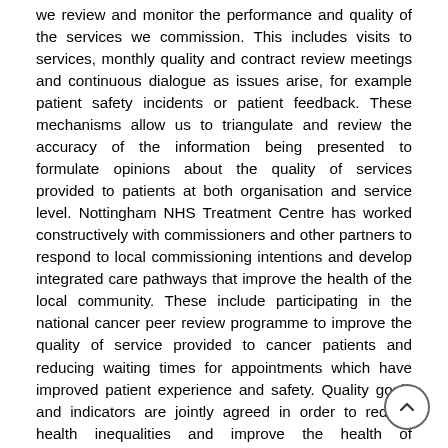we review and monitor the performance and quality of the services we commission. This includes visits to services, monthly quality and contract review meetings and continuous dialogue as issues arise, for example patient safety incidents or patient feedback. These mechanisms allow us to triangulate and review the accuracy of the information being presented to formulate opinions about the quality of services provided to patients at both organisation and service level. Nottingham NHS Treatment Centre has worked constructively with commissioners and other partners to respond to local commissioning intentions and develop integrated care pathways that improve the health of the local community. These include participating in the national cancer peer review programme to improve the quality of service provided to cancer patients and reducing waiting times for appointments which have improved patient experience and safety. Quality goals and indicators are jointly agreed in order to reduce health inequalities and improve the health of Nottingham and Nottinghamshire residents. Commissioners have seen a number of initiatives which have resulted in changes to culture, practice and patient outcomes and these are reflected in this quality account.